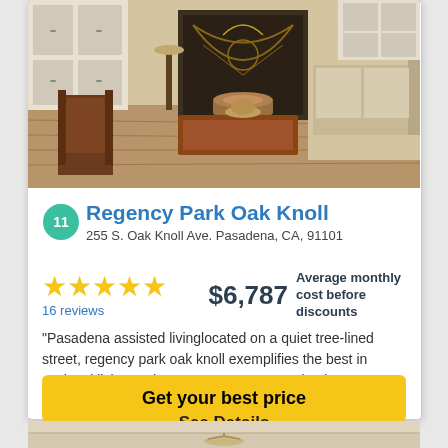[Figure (photo): Interior photo of a living room with wooden furniture, a coffee table, fireplace screen, and beige upholstered sofa]
Regency Park Oak Knoll
255 S. Oak Knoll Ave. Pasadena, CA, 91101
★★★★★ 16 reviews
$6,787 Average monthly cost before discounts
"Pasadena assisted livinglocated on a quiet tree-lined street, regency park oak knoll exemplifies the best in assisted living and memory care. We emphasize…
Get your best price
See Details
[Figure (photo): Partial interior photo of a room with a chandelier, visible at the bottom of the page]